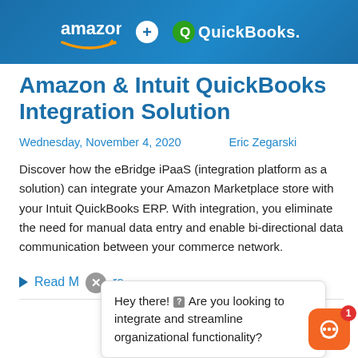[Figure (illustration): Banner with Amazon logo, plus sign, and QuickBooks logo on blue diagonal-striped background]
Amazon & Intuit QuickBooks Integration Solution
Wednesday, November 4, 2020     Eric Zegarski
Discover how the eBridge iPaaS (integration platform as a solution) can integrate your Amazon Marketplace store with your Intuit QuickBooks ERP. With integration, you eliminate the need for manual data entry and enable bi-directional data communication between your commerce network.
Read More
Hey there! ? Are you looking to integrate and streamline organizational functionality?